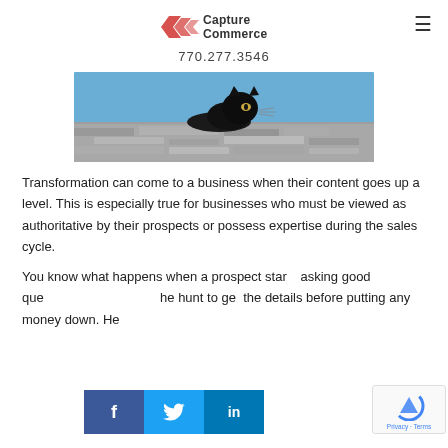Capture Commerce  770.277.3546
[Figure (photo): Black cat peering over a stone ledge against a blue sky background]
Transformation can come to a business when their content goes up a level. This is especially true for businesses who must be viewed as authoritative by their prospects or possess expertise during the sales cycle.
You know what happens when a prospect starts asking good questions and goes on the hunt to get the details before putting any money down. Here